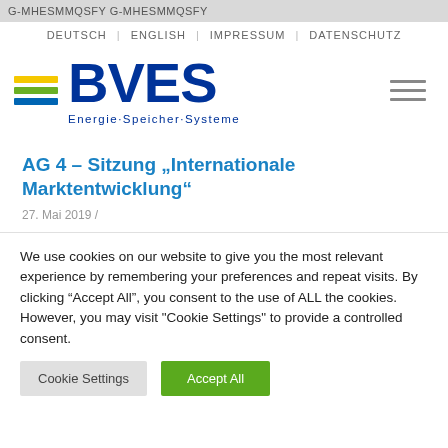G-MHESMMQSFY G-MHESMMQSFY
DEUTSCH | ENGLISH | IMPRESSUM | DATENSCHUTZ
[Figure (logo): BVES logo with yellow, green, and blue horizontal stripes and text 'BVES Energie·Speicher·Systeme' in dark blue, plus a hamburger menu icon on the right]
AG 4 – Sitzung „Internationale Marktentwicklung“
27. Mai 2019 /
We use cookies on our website to give you the most relevant experience by remembering your preferences and repeat visits. By clicking “Accept All”, you consent to the use of ALL the cookies. However, you may visit "Cookie Settings" to provide a controlled consent.
Cookie Settings   Accept All